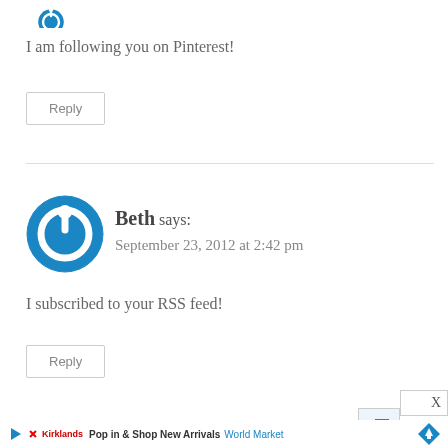[Figure (logo): Blue circular avatar icon partially visible at top]
I am following you on Pinterest!
Reply
Beth says:
September 23, 2012 at 2:42 pm
I subscribed to your RSS feed!
Reply
[Figure (infographic): Bottom ad bar: Play button, Kirklands logo, Pop in & Shop New Arrivals, World Market text, blue diamond arrow icon, X close button]